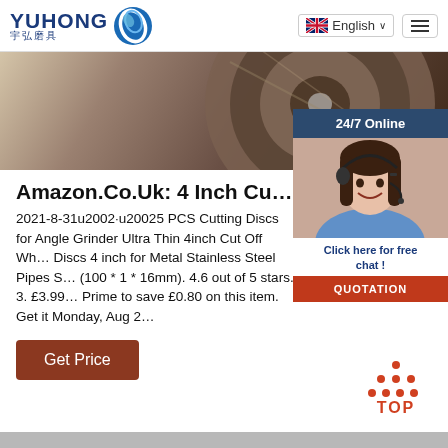YUHONG 宇弘磨具 | English | Navigation menu
[Figure (photo): Hero image showing metallic cutting discs for angle grinder with close-up rust/metal texture background]
[Figure (photo): 24/7 Online chat widget with customer service representative woman wearing headset, with 'Click here for free chat!' text and QUOTATION button]
Amazon.Co.Uk: 4 Inch Cutting Di…
2021-8-31u2002·u20025 PCS Cutting Discs for Angle Grinder Ultra Thin 4inch Cut Off Wheels Discs 4 inch for Metal Stainless Steel Pipes S… (100 * 1 * 16mm). 4.6 out of 5 stars. 3. £3.99… Prime to save £0.80 on this item. Get it Monday, Aug 2…
Get Price
[Figure (other): TOP back-to-top button with orange/red dots forming a triangle above the word TOP in red]